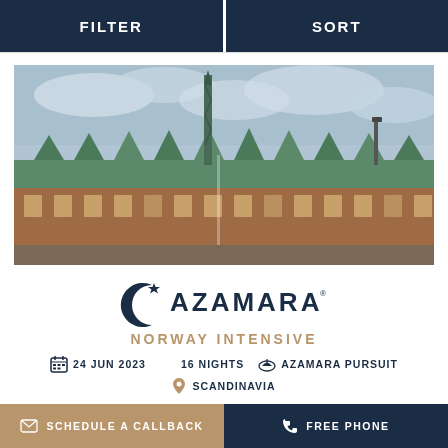FILTER    SORT
[Figure (photo): Exterior of a historic Danish building (likely Børsen in Copenhagen) with green copper roofs, red brick facade, ornate Renaissance gables, and a distinctive dragon spire tower against a cloudy sky.]
[Figure (logo): Azamara cruise line logo featuring a crescent moon/circle shape with a star, followed by AZAMARA text in dark navy.]
NORWAY INTENSIVE
24 JUN 2023    16 NIGHTS    AZAMARA PURSUIT
SCANDINAVIA
SCHEDULE A CALLBACK    FREE PHONE